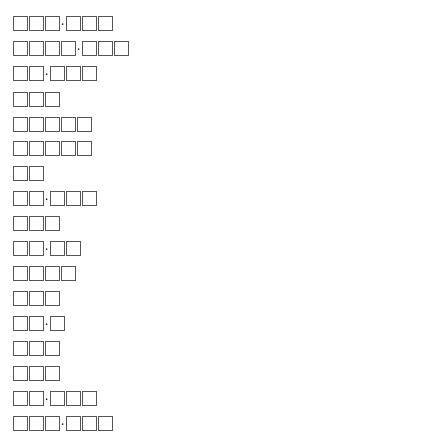□□□·□□□
□□□□·□□□
□□·□□□
□□□
□□□□□
□□□□□
□□
□□·□□□
□□□
□□·□□
□□□□
□□□
□□·□
□□□
□□□
□□·□□□
□□□·□□□